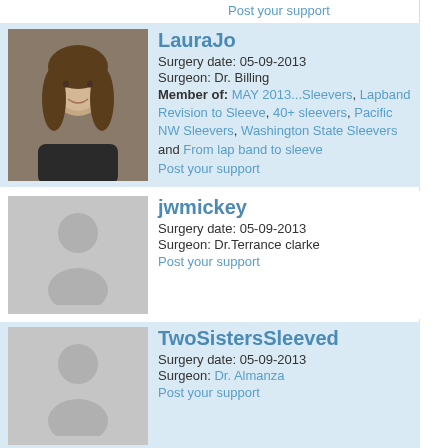Post your support
LauraJo
Surgery date: 05-09-2013
Surgeon: Dr. Billing
Member of: MAY 2013...Sleevers, Lapband Revision to Sleeve, 40+ sleevers, Pacific NW Sleevers, Washington State Sleevers and From lap band to sleeve
Post your support
jwmickey
Surgery date: 05-09-2013
Surgeon: Dr.Terrance clarke
Post your support
TwoSistersSleeved
Surgery date: 05-09-2013
Surgeon: Dr. Almanza
Post your support
S00TY
Surgery date: 05-09-2013
Post your support
biowidget
Surgery date: 05-09-2013
Surgeon: Dr. Orti...